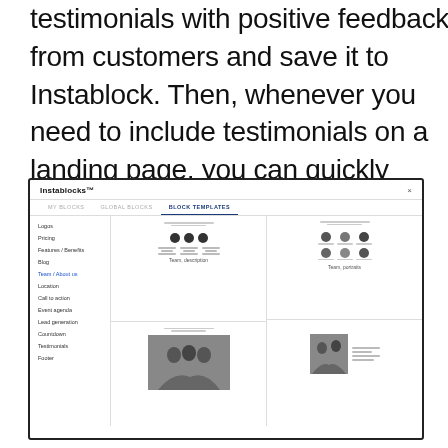testimonials with positive feedback from customers and save it to Instablock. Then, whenever you need to include testimonials on a landing page, you can quickly insert that Instablock into the page.
[Figure (screenshot): Screenshot of the Instablocks UI panel showing tabs: MY BLOCKS, GLOBAL BLOCKS, BLOCK TEMPLATES (active). Left sidebar shows categories: Logos, Pricing, Features/Benefits, Blog, Team/About us (active/highlighted), Location, Call to action, Event agenda, Lead generation, Countdown, Testimonials, Footer. Main content area shows block template previews: Team description (avatars in a row with text below) and Team portraits (grid of portrait circles). Lower row shows a photo-based team block and a partial right panel with a photo and text.]